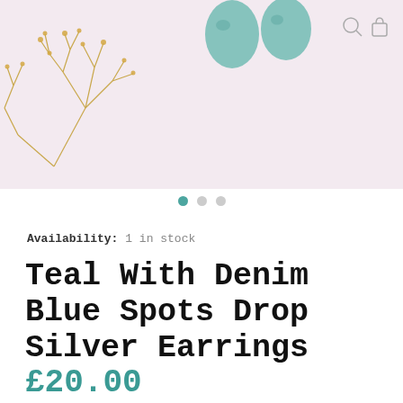[Figure (photo): Product photo of teal drop earrings with denim blue spots on a pink/blush background with dried golden flowers]
Availability: 1 in stock
Teal With Denim Blue Spots Drop Silver Earrings
£20.00